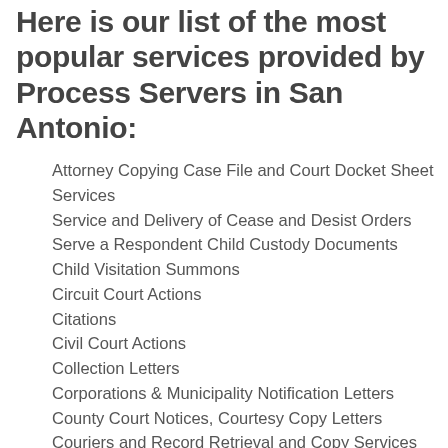Here is our list of the most popular services provided by Process Servers in San Antonio:
Attorney Copying Case File and Court Docket Sheet Services
Service and Delivery of Cease and Desist Orders
Serve a Respondent Child Custody Documents
Child Visitation Summons
Circuit Court Actions
Citations
Civil Court Actions
Collection Letters
Corporations & Municipality Notification Letters
County Court Notices, Courtesy Copy Letters
Couriers and Record Retrieval and Copy Services
Court Order
Court Researchers, Delivery and Scan Services
Delivery of Courtesy Copies of Legal Documents